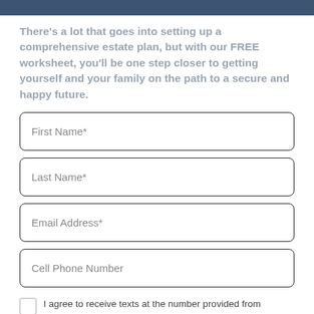[Figure (other): Dark blue/slate header bar at top of page]
There's a lot that goes into setting up a comprehensive estate plan, but with our FREE worksheet, you'll be one step closer to getting yourself and your family on the path to a secure and happy future.
First Name*
Last Name*
Email Address*
Cell Phone Number
I agree to receive texts at the number provided from Schomer Law Group. Frequency may vary and include